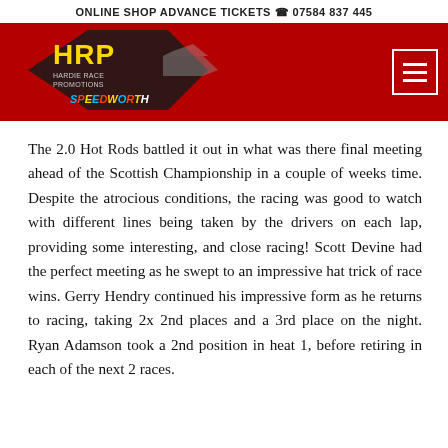ONLINE SHOP   ADVANCE TICKETS   ☎ 07584 837 445
[Figure (logo): HRP Hardie Race Promotions / Spedeworth logo on a dark red banner background with a hamburger menu button on the right]
The 2.0 Hot Rods battled it out in what was there final meeting ahead of the Scottish Championship in a couple of weeks time. Despite the atrocious conditions, the racing was good to watch with different lines being taken by the drivers on each lap, providing some interesting, and close racing! Scott Devine had the perfect meeting as he swept to an impressive hat trick of race wins. Gerry Hendry continued his impressive form as he returns to racing, taking 2x 2nd places and a 3rd place on the night. Ryan Adamson took a 2nd position in heat 1, before retiring in each of the next 2 races.